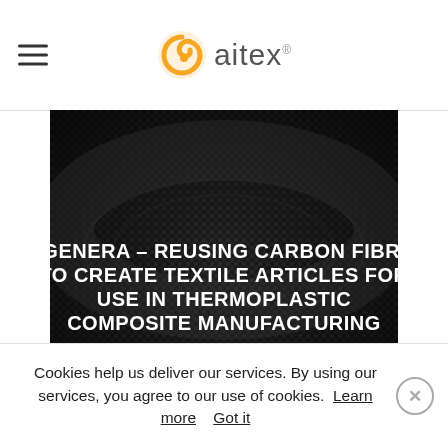aitex (logo)
[Figure (photo): Carbon fibre woven textile close-up in dark tones, with white bold text overlay reading: rGENERA – REUSING CARBON FIBRE TO CREATE TEXTILE ARTICLES FOR USE IN THERMOPLASTIC COMPOSITE MANUFACTURING]
rGENERA – REUSING CARBON FIBRE TO CREATE TEXTILE ARTICLES FOR USE IN THERMOPLASTIC COMPOSITE MANUFACTURING
Cookies help us deliver our services. By using our services, you agree to our use of cookies. Learn more Got it